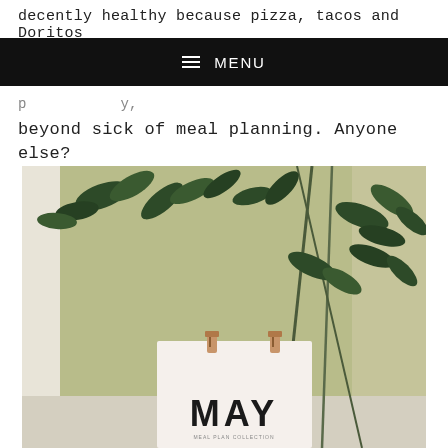decently healthy because pizza, tacos and Doritos
MENU
beyond sick of meal planning. Anyone else?
[Figure (photo): A photo of a room with a light olive/sage green wall, a plant with dark green leaves on tall stems, and a white calendar page pinned with two wooden clothespins showing the word MAY in bold black letters.]